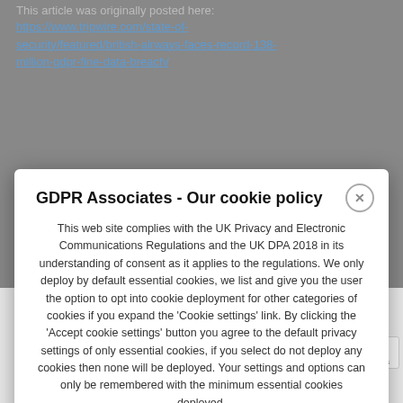This article was originally posted here:
https://www.tripwire.com/state-of-security/featured/british-airways-faces-record-138-million-gdpr-fine-data-breach/
GDPR Associates - Our cookie policy
This web site complies with the UK Privacy and Electronic Communications Regulations and the UK DPA 2018 in its understanding of consent as it applies to the regulations. We only deploy by default essential cookies, we list and give you the user the option to opt into cookie deployment for other categories of cookies if you expand the 'Cookie settings' link. By clicking the 'Accept cookie settings' button you agree to the default privacy settings of only essential cookies, if you select do not deploy any cookies then none will be deployed. Your settings and options can only be remembered with the minimum essential cookies deployed.
Accept cookie settings
Cookie settings
GDPR Associates
View More Articles >
RELATED ARTICLES